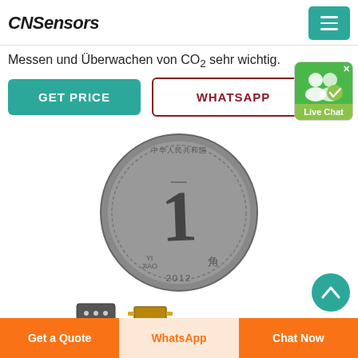CNSensors
Messen und Überwachen von CO2 sehr wichtig.
GET PRICE
WHATSAPP
[Figure (screenshot): Live Chat widget button with two person icons and a green checkmark badge, on a teal/green background. A close (x) symbol in top-right corner.]
[Figure (photo): Chinese Yi Jiao coin from 2012 showing the number 1, used for size comparison with small sensors.]
[Figure (photo): Two small electronic sensor chips/modules shown as thumbnails below the coin.]
Get a Quote
WhatsApp
Chat Now